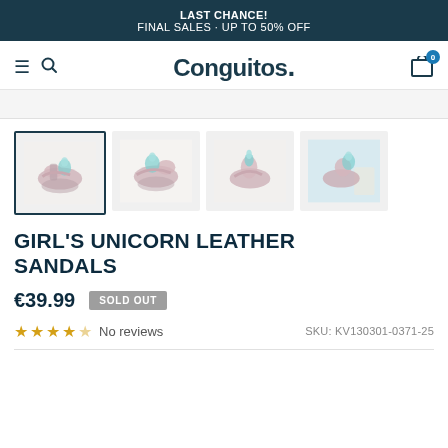LAST CHANCE!
FINAL SALES · UP TO 50% OFF
[Figure (logo): Conguitos brand logo with hamburger menu, search icon, and cart icon with badge showing 0]
[Figure (photo): Four thumbnail images of girl's unicorn leather sandals in pink/rose gold with teal unicorn horn detail]
GIRL'S UNICORN LEATHER SANDALS
€39.99  SOLD OUT
★★★★☆ No reviews  SKU: KV130301-0371-25